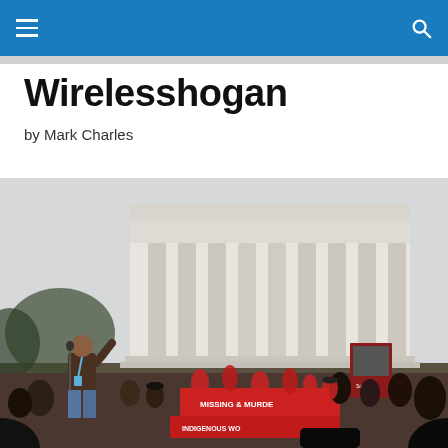Wirelesshogan — navigation bar
Wirelesshogan
by Mark Charles
[Figure (photo): A man speaking at a microphone outdoors in front of the Lincoln Memorial in Washington D.C., with a large crowd holding red banners reading 'MISSING & MURDERED INDIGENOUS WOMEN']